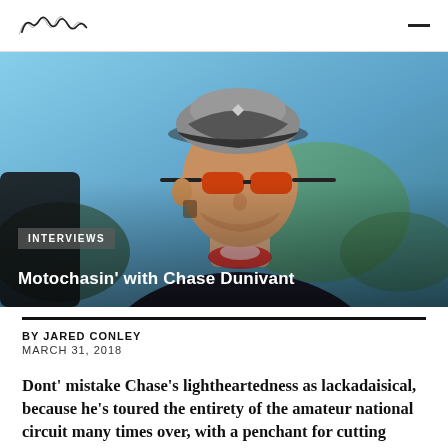Cycle logo | hamburger menu
[Figure (photo): Young man wearing a grey trucker cap and red mirrored sunglasses, dressed in a dark hoodie with a red bandana, outdoors with a blurred green and blue background. Hero image for interview article.]
INTERVIEWS
Motochasin' with Chase Dunivant
BY JARED CONLEY
MARCH 31, 2018
Dont' mistake Chase's lightheartedness as lackadaisical, because he's toured the entirety of the amateur national circuit many times over, with a penchant for cutting